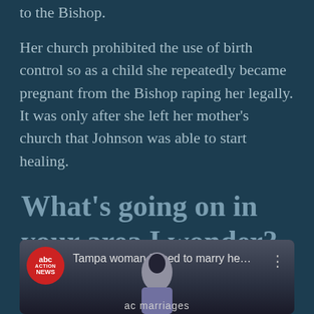to the Bishop.
Her church prohibited the use of birth control so as a child she repeatedly became pregnant from the Bishop raping her legally. It was only after she left her mother's church that Johnson was able to start healing.
What's going on in your area I wonder?
[Figure (screenshot): ABC Action News YouTube video thumbnail showing 'Tampa woman forced to marry he...' with red ABC Action News logo circle on left, three-dot menu on right, and a figure/person visible in the lower portion of the thumbnail]